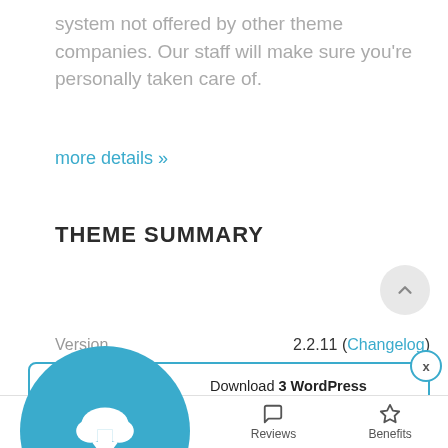system not offered by other theme companies. Our staff will make sure you're personally taken care of.
more details »
THEME SUMMARY
Version   2.2.11 (Changelog)
Download 3 WordPress themes & plugins with lifetime access for FREE!
Click here to Join
Home   Search   Reviews   Benefits